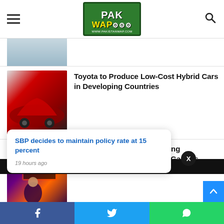PAK WAP — www.pakistanwap.com
[Figure (photo): Partially visible article thumbnail at top]
Toyota to Produce Low-Cost Hybrid Cars in Developing Countries
This Group Has Been Stealing Thousands From Pakistani Gamers
SBP decides to maintain policy rate at 15 percent
19 hours ago
Share buttons: Facebook, Twitter, WhatsApp